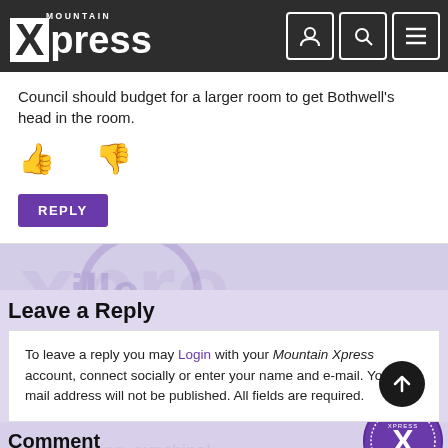Mountain Xpress
Council should budget for a larger room to get Bothwell's head in the room.
[Figure (other): Thumbs up and thumbs down vote icons in purple]
REPLY
Leave a Reply
To leave a reply you may Login with your Mountain Xpress account, connect socially or enter your name and e-mail. Your e-mail address will not be published. All fields are required.
Comment